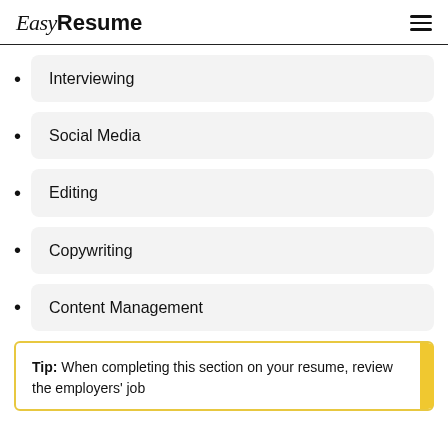Easy Resume
Interviewing
Social Media
Editing
Copywriting
Content Management
Tip: When completing this section on your resume, review the employers' job